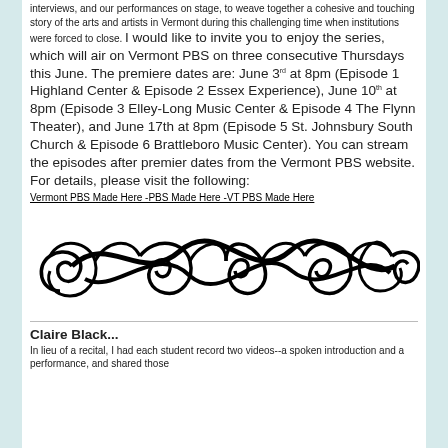interviews, and our performances on stage, to weave together a cohesive and touching story of the arts and artists in Vermont during this challenging time when institutions were forced to close. I would like to invite you to enjoy the series, which will air on Vermont PBS on three consecutive Thursdays this June. The premiere dates are: June 3rd at 8pm (Episode 1 Highland Center & Episode 2 Essex Experience), June 10th at 8pm (Episode 3 Elley-Long Music Center & Episode 4 The Flynn Theater), and June 17th at 8pm (Episode 5 St. Johnsbury South Church & Episode 6 Brattleboro Music Center). You can stream the episodes after premier dates from the Vermont PBS website. For details, please visit the following:
Vermont PBS Made Here -PBS Made Here -VT PBS Made Here
[Figure (illustration): Decorative ornamental divider with interlocking scroll/flourish design in black on white background]
Claire Black...
In lieu of a recital, I had each student record two videos--a spoken introduction and a performance, and shared those